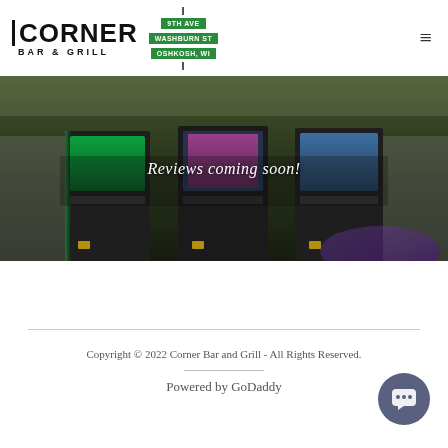[Figure (logo): Corner Bar & Grill logo with text 'CORNER BAR & GRILL' and street sign graphic showing '9TH AVE / WASHBURN ST / OSHKOSH, WI']
[Figure (photo): Interior photo of Corner Bar & Grill showing arcade gaming machines with colorful screens in a dark bar environment]
Reviews coming soon!
Copyright © 2022 Corner Bar and Grill - All Rights Reserved.
Powered by GoDaddy